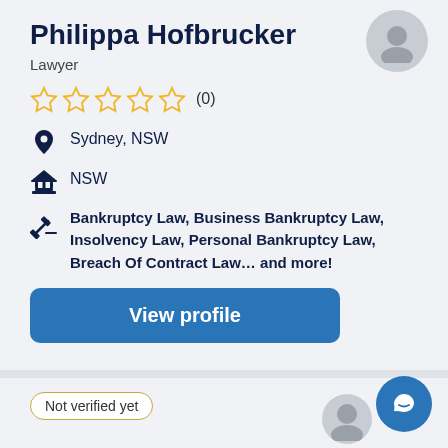Philippa Hofbrucker
Lawyer
☆☆☆☆☆ (0)
Sydney, NSW
NSW
Bankruptcy Law, Business Bankruptcy Law, Insolvency Law, Personal Bankruptcy Law, Breach Of Contract Law… and more!
View profile
Not verified yet